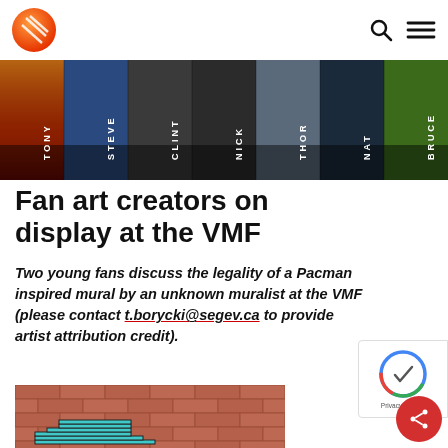Site logo and navigation icons (search, menu)
[Figure (photo): Horizontal strip of fan art illustrations showing Marvel Avengers characters (Tony, Steve, Clint, Nick, Thor, Nat, Bruce) shown from torso level only, with character names in vertical text at bottom of each panel.]
Fan art creators on display at the VMF
Two young fans discuss the legality of a Pacman inspired mural by an unknown muralist at the VMF (please contact t.borycki@segev.ca to provide artist attribution credit).
[Figure (photo): Partial view of a brick wall mural showing a pixelated / Minecraft-style ghost or character in teal/cyan color against a reddish-brown brick wall background.]